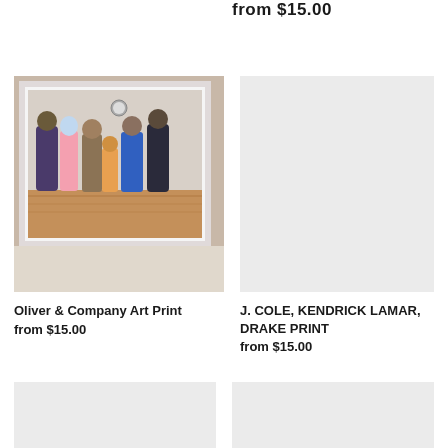from $15.00
[Figure (photo): Framed art print showing animated/cartoon animal-human hybrid characters posed together in a gallery setting, displayed on a wooden floor]
Oliver & Company Art Print
from $15.00
[Figure (photo): Light gray placeholder image for product]
J. COLE, KENDRICK LAMAR, DRAKE PRINT
from $15.00
[Figure (photo): Light gray placeholder image at bottom left]
[Figure (photo): Light gray placeholder image at bottom right]